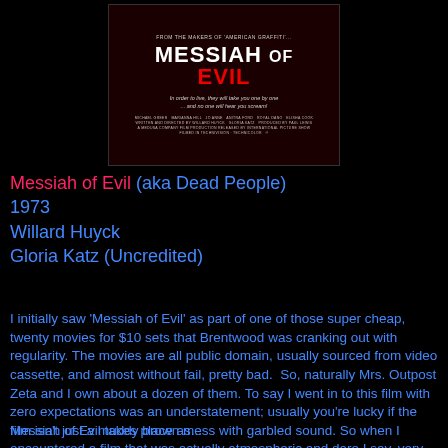[Figure (photo): Movie poster for 'Messiah of Evil' showing title text on dark background with taglines and cast credits]
Messiah of Evil (aka Dead People)
1973
Willard Huyck
Gloria Katz (Uncredited)
I initially saw 'Messiah of Evil' as part of one of those super cheap, twenty movies for $10 sets that Brentwood was cranking out with regularity. The movies are all public domain, usually sourced from video cassette, and almost without fail, pretty bad.  So, naturally Mrs. Outpost Zeta and I own about a dozen of them. To say I went in to this film with zero expectations was an understatement; usually you're lucky if the film isn't just a muddy brown mess with garbled sound. So when I encountered a film that was actually atmospheric and dare I say, very eerie, I was more than a little shocked.
Messiah of Evil takes place as...